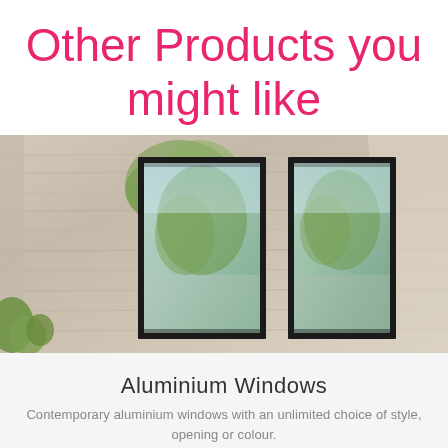Other Products you might like
[Figure (photo): Photograph of two tall black-framed aluminium windows set into a textured concrete/stone wall exterior, with green trees and sky reflected in the glass]
Aluminium Windows
Contemporary aluminium windows with an unlimited choice of style, opening or colour.